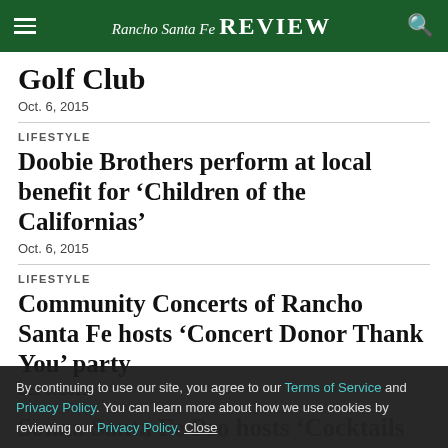Rancho Santa Fe REVIEW
Golf Club
Oct. 6, 2015
LIFESTYLE
Doobie Brothers perform at local benefit for 'Children of the Californias'
Oct. 6, 2015
LIFESTYLE
Community Concerts of Rancho Santa Fe hosts 'Concert Donor Thank You' party
Oct. 6, 2015
Sonna Santa Fe Pro hosts 'Cocktails with Class'
Oct. 6, 2015
By continuing to use our site, you agree to our Terms of Service and Privacy Policy. You can learn more about how we use cookies by reviewing our Privacy Policy. Close